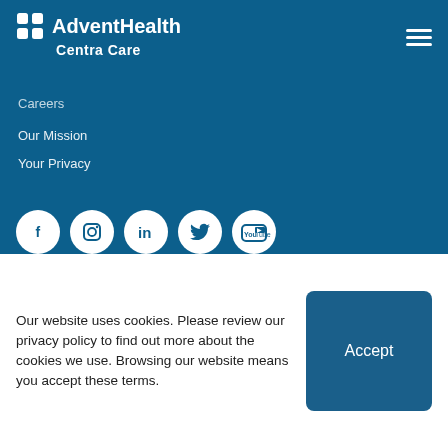[Figure (logo): AdventHealth Centra Care logo with white cross/grid icon and white text on dark blue background, hamburger menu icon on top right]
Careers
Our Mission
Your Privacy
[Figure (infographic): Row of five social media icons (Facebook, Instagram, LinkedIn, Twitter, YouTube) as white circles on dark blue background]
[Figure (other): Google Translate language selector button with Google G logo, text 'Select Language |' and dropdown arrow, white pill-shaped button]
© 2022 AdventHealth. All rights reserved. · Privacy Policy
Our website uses cookies. Please review our privacy policy to find out more about the cookies we use. Browsing our website means you accept these terms.
Accept